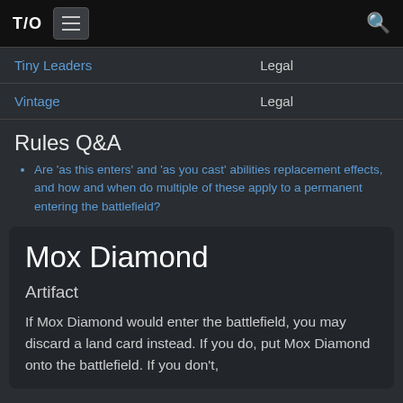T/O [menu] [search]
| Format | Status |
| --- | --- |
| Tiny Leaders | Legal |
| Vintage | Legal |
Rules Q&A
Are 'as this enters' and 'as you cast' abilities replacement effects, and how and when do multiple of these apply to a permanent entering the battlefield?
Mox Diamond
Artifact
If Mox Diamond would enter the battlefield, you may discard a land card instead. If you do, put Mox Diamond onto the battlefield. If you don't,